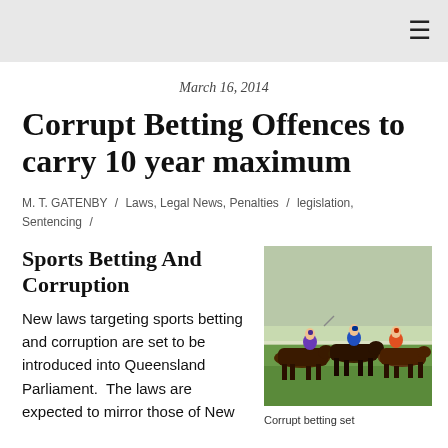≡
March 16, 2014
Corrupt Betting Offences to carry 10 year maximum
M. T. GATENBY / Laws, Legal News, Penalties / legislation, Sentencing /
Sports Betting And Corruption
New laws targeting sports betting and corruption are set to be introduced into Queensland Parliament.  The laws are expected to mirror those of New
[Figure (photo): Jockeys racing horses on a green track, colorful silks]
Corrupt betting set